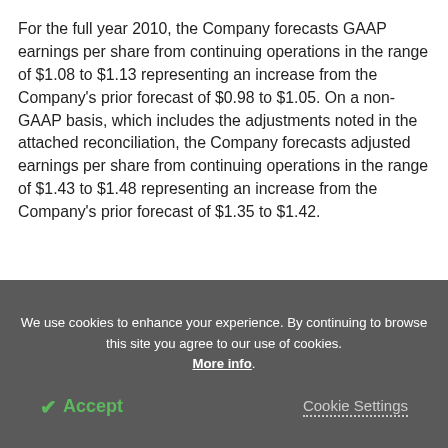For the full year 2010, the Company forecasts GAAP earnings per share from continuing operations in the range of $1.08 to $1.13 representing an increase from the Company's prior forecast of $0.98 to $1.05. On a non-GAAP basis, which includes the adjustments noted in the attached reconciliation, the Company forecasts adjusted earnings per share from continuing operations in the range of $1.43 to $1.48 representing an increase from the Company's prior forecast of $1.35 to $1.42.
We use cookies to enhance your experience. By continuing to browse this site you agree to our use of cookies. More info.